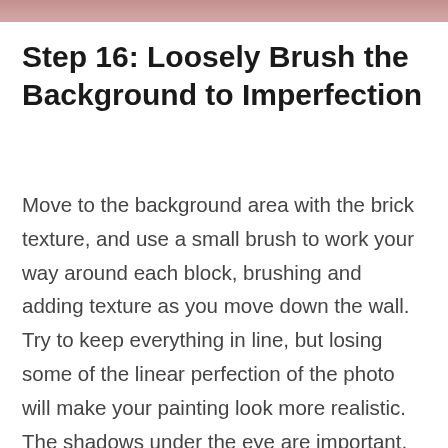[Figure (photo): Top strip showing a partial image with pinkish-brown tones, likely a painting or artwork detail]
Step 16: Loosely Brush the Background to Imperfection
Move to the background area with the brick texture, and use a small brush to work your way around each block, brushing and adding texture as you move down the wall. Try to keep everything in line, but losing some of the linear perfection of the photo will make your painting look more realistic. The shadows under the eye are important, because they help to make the eye appear to be more round in shape, giving it more dimension.